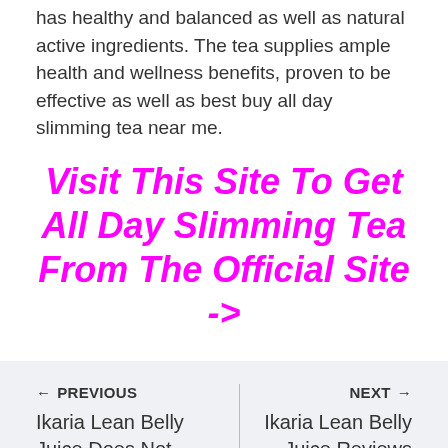has healthy and balanced as well as natural active ingredients. The tea supplies ample health and wellness benefits, proven to be effective as well as best buy all day slimming tea near me.
Visit This Site To Get All Day Slimming Tea From The Official Site ->
← PREVIOUS | Ikaria Lean Belly Juice Does Not Work | NEXT → | Ikaria Lean Belly Juice Reviews And Complaints